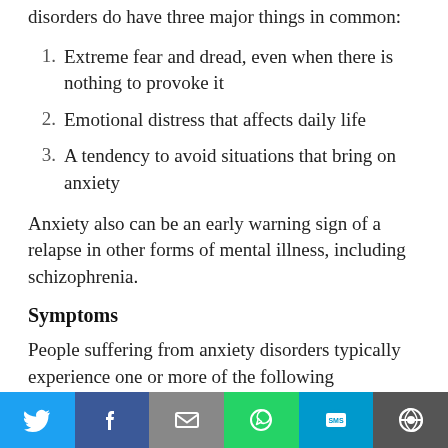disorders do have three major things in common:
Extreme fear and dread, even when there is nothing to provoke it
Emotional distress that affects daily life
A tendency to avoid situations that bring on anxiety
Anxiety also can be an early warning sign of a relapse in other forms of mental illness, including schizophrenia.
Symptoms
People suffering from anxiety disorders typically experience one or more of the following symptoms: